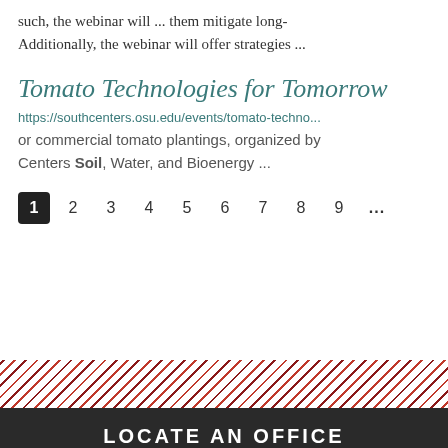such, the webinar will ... them mitigate long- Additionally, the webinar will offer strategies ...
Tomato Technologies for Tomorrow
https://southcenters.osu.edu/events/tomato-techno... or commercial tomato plantings, organized by Centers Soil, Water, and Bioenergy ...
1 2 3 4 5 6 7 8 9 ...
[Figure (other): Diagonal red and white stripe decorative banner]
LOCATE AN OFFICE